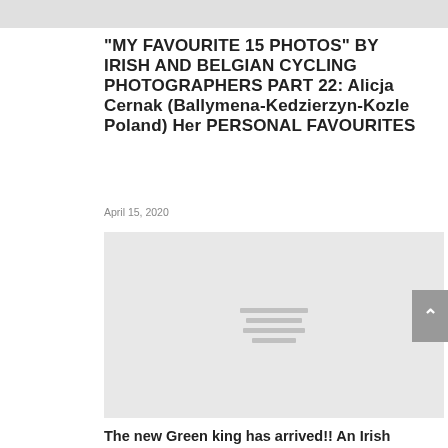[Figure (photo): Gray placeholder strip at top of page, partial image cutoff]
“MY FAVOURITE 15 PHOTOS” BY IRISH AND BELGIAN CYCLING PHOTOGRAPHERS PART 22: Alicja Cernak (Ballymena-Kedzierzyn-Kozle Poland) Her PERSONAL FAVOURITES
April 15, 2020
[Figure (photo): Gray placeholder rectangle representing a loading or unavailable cycling photograph]
The new Green king has arrived!! An Irish Flandrien called Sam Bennett... born near the Flanders Fields in Wervik and raised in